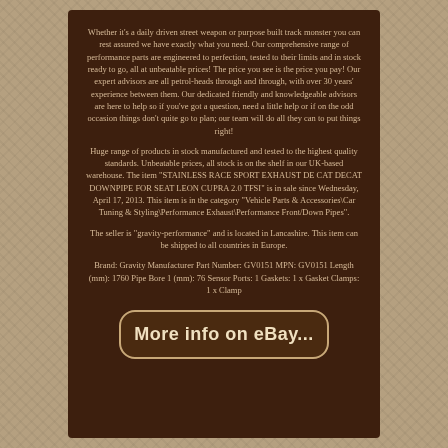Whether it's a daily driven street weapon or purpose built track monster you can rest assured we have exactly what you need. Our comprehensive range of performance parts are engineered to perfection, tested to their limits and in stock ready to go, all at unbeatable prices! The price you see is the price you pay! Our expert advisors are all petrol-heads through and through, with over 30 years' experience between them. Our dedicated friendly and knowledgeable advisors are here to help so if you've got a question, need a little help or if on the odd occasion things don't quite go to plan; our team will do all they can to put things right!
Huge range of products in stock manufactured and tested to the highest quality standards. Unbeatable prices, all stock is on the shelf in our UK-based warehouse. The item "STAINLESS RACE SPORT EXHAUST DE CAT DECAT DOWNPIPE FOR SEAT LEON CUPRA 2.0 TFSI" is in sale since Wednesday, April 17, 2013. This item is in the category "Vehicle Parts & Accessories\Car Tuning & Styling\Performance Exhaust\Performance Front/Down Pipes".
The seller is "gravity-performance" and is located in Lancashire. This item can be shipped to all countries in Europe.
Brand: Gravity Manufacturer Part Number: GV0151 MPN: GV0151 Length (mm): 1760 Pipe Bore 1 (mm): 76 Sensor Ports: 1 Gaskets: 1 x Gasket Clamps: 1 x Clamp
[Figure (other): Button with text 'More info on eBay...']